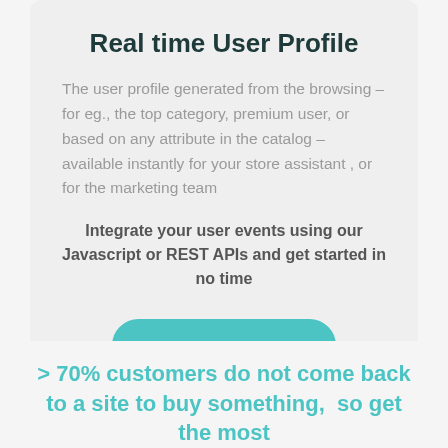Real time User Profile
The user profile generated from the browsing – for eg., the top category, premium user, or based on any attribute in the catalog – available instantly for your store assistant , or for the marketing team
Integrate your user events using our Javascript or REST APIs and get started in no time
TALK TO US
> 70% customers do not come back to a site to buy something,  so get the most